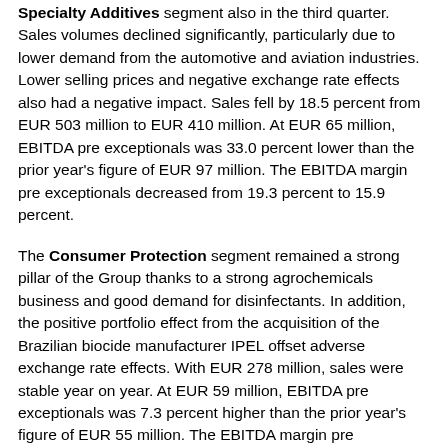Specialty Additives segment also in the third quarter. Sales volumes declined significantly, particularly due to lower demand from the automotive and aviation industries. Lower selling prices and negative exchange rate effects also had a negative impact. Sales fell by 18.5 percent from EUR 503 million to EUR 410 million. At EUR 65 million, EBITDA pre exceptionals was 33.0 percent lower than the prior year's figure of EUR 97 million. The EBITDA margin pre exceptionals decreased from 19.3 percent to 15.9 percent.
The Consumer Protection segment remained a strong pillar of the Group thanks to a strong agrochemicals business and good demand for disinfectants. In addition, the positive portfolio effect from the acquisition of the Brazilian biocide manufacturer IPEL offset adverse exchange rate effects. With EUR 278 million, sales were stable year on year. At EUR 59 million, EBITDA pre exceptionals was 7.3 percent higher than the prior year's figure of EUR 55 million. The EBITDA margin pre exceptionals picked up to 21.2 percent, against 19.9 percent in the prior year.
The Engineering Materials segment was impacted by weak